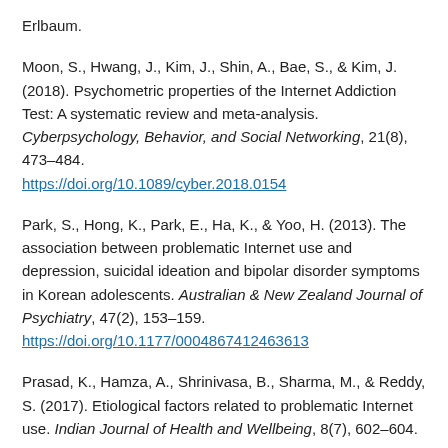Erlbaum.
Moon, S., Hwang, J., Kim, J., Shin, A., Bae, S., & Kim, J. (2018). Psychometric properties of the Internet Addiction Test: A systematic review and meta-analysis. Cyberpsychology, Behavior, and Social Networking, 21(8), 473–484. https://doi.org/10.1089/cyber.2018.0154
Park, S., Hong, K., Park, E., Ha, K., & Yoo, H. (2013). The association between problematic Internet use and depression, suicidal ideation and bipolar disorder symptoms in Korean adolescents. Australian & New Zealand Journal of Psychiatry, 47(2), 153–159. https://doi.org/10.1177/0004867412463613
Prasad, K., Hamza, A., Shrinivasa, B., Sharma, M., & Reddy, S. (2017). Etiological factors related to problematic Internet use. Indian Journal of Health and Wellbeing, 8(7), 602–604.